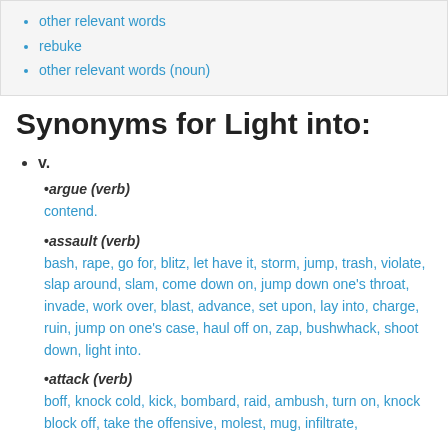other relevant words
rebuke
other relevant words (noun)
Synonyms for Light into:
v.
•argue (verb)
contend.
•assault (verb)
bash, rape, go for, blitz, let have it, storm, jump, trash, violate, slap around, slam, come down on, jump down one's throat, invade, work over, blast, advance, set upon, lay into, charge, ruin, jump on one's case, haul off on, zap, bushwhack, shoot down, light into.
•attack (verb)
boff, knock cold, kick, bombard, raid, ambush, turn on, knock block off, take the offensive, molest, mug, infiltrate,